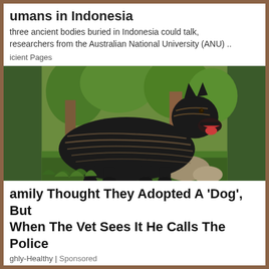umans in Indonesia
three ancient bodies buried in Indonesia could talk, researchers from the Australian National University (ANU) ..
icient Pages
[Figure (photo): A large black muscular dog (Cane Corso type) with tan/beige stripes on its coat, standing outdoors in a grassy area with trees and rocks in the background, mouth open.]
amily Thought They Adopted A 'Dog', But When The Vet Sees It He Calls The Police
ghly-Healthy | Sponsored